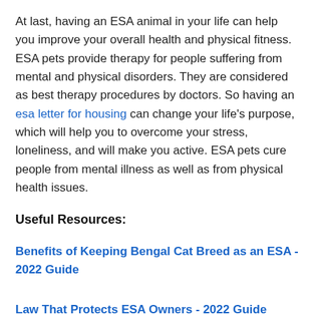At last, having an ESA animal in your life can help you improve your overall health and physical fitness. ESA pets provide therapy for people suffering from mental and physical disorders. They are considered as best therapy procedures by doctors. So having an esa letter for housing can change your life's purpose, which will help you to overcome your stress, loneliness, and will make you active. ESA pets cure people from mental illness as well as from physical health issues.
Useful Resources:
Benefits of Keeping Bengal Cat Breed as an ESA - 2022 Guide
Law That Protects ESA Owners - 2022 Guide